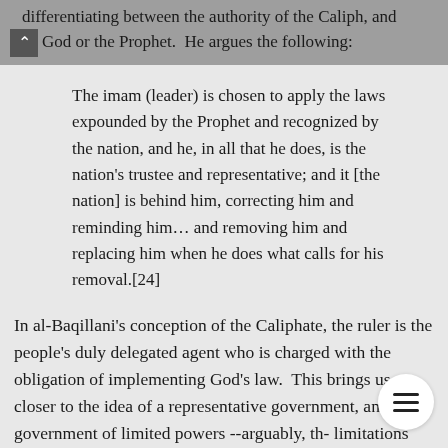differentiating between the authority of the Caliph, and God or the Prophet. He argues the following:
The imam (leader) is chosen to apply the laws expounded by the Prophet and recognized by the nation, and he, in all that he does, is the nation's trustee and representative; and it [the nation] is behind him, correcting him and reminding him... and removing him and replacing him when he does what calls for his removal.[24]
In al-Baqillani's conception of the Caliphate, the ruler is the people's duly delegated agent who is charged with the obligation of implementing God's law. This brings us closer to the idea of a representative government, and to a government of limited powers --arguably, the limitations are imposed by the people who act as overseers, insuring compliance with God's law. The